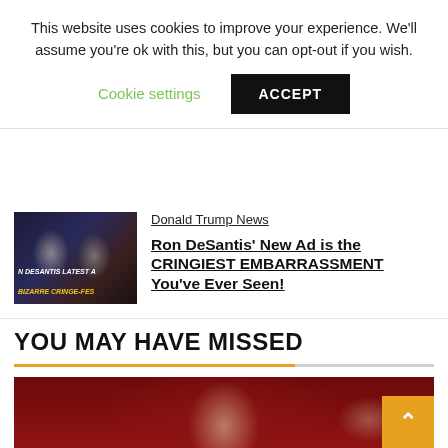This website uses cookies to improve your experience. We'll assume you're ok with this, but you can opt-out if you wish.
Cookie settings   ACCEPT
Donald Trump News
Ron DeSantis' New Ad is the CRINGIEST EMBARRASSMENT You've Ever Seen!
[Figure (photo): Thumbnail showing two men in front of an American flag background with text 'N DESANTIS LATEST A' and 'BIZARRE CRINGE-FES' in yellow italic]
YOU MAY HAVE MISSED
[Figure (photo): Red-toned image of a man's face (resembling Donald Trump) overlaid on a map background, with dramatic red lighting]